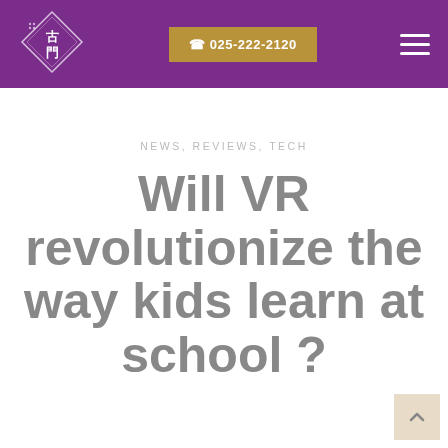[Figure (logo): Diamond-shaped logo with Chinese characters 古門 and small decorative text, white on purple background]
☎ 025-222-2120
[Figure (other): Hamburger menu icon — three horizontal white lines]
NEWS, REVIEWS, TECH
Will VR revolutionize the way kids learn at school ?